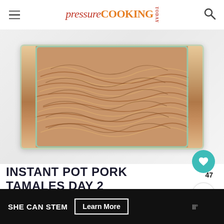pressure COOKING TODAY
[Figure (photo): Shredded pork filling in a glass rectangular container, viewed from above on a white marble surface]
INSTANT POT PORK TAMALES DAY 2
On the second day, I make the masa, fill and wrap the tamales, and pressure cook them.
SHE CAN STEM  Learn More